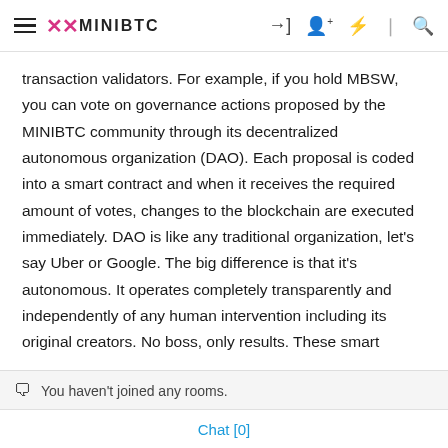MINIBTC
transaction validators. For example, if you hold MBSW, you can vote on governance actions proposed by the MINIBTC community through its decentralized autonomous organization (DAO). Each proposal is coded into a smart contract and when it receives the required amount of votes, changes to the blockchain are executed immediately. DAO is like any traditional organization, let’s say Uber or Google. The big difference is that it’s autonomous. It operates completely transparently and independently of any human intervention including its original creators. No boss, only results. These smart contracts will trigger invoices, transfer funds, swap, exchange, and collect payment. And the smart contract running the DAO would use the amount
You haven't joined any rooms.
Chat [0]